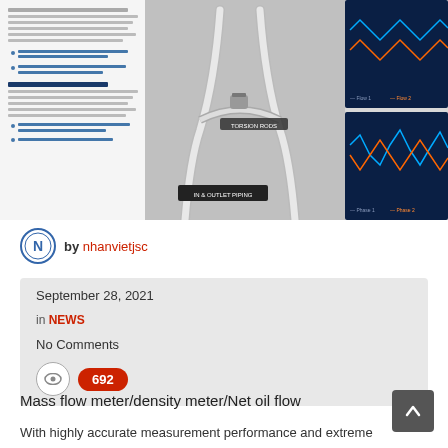[Figure (photo): Product image of a mass flow meter / Coriolis meter with stainless steel tubing in a Y-shape, alongside a document excerpt and waveform graphs on a dark blue background.]
by nhanvietjsc
September 28, 2021
in NEWS
No Comments
692
Mass flow meter/density meter/Net oil flow
With highly accurate measurement performance and extreme